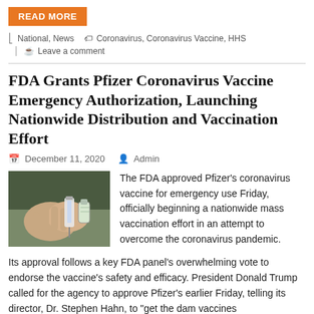READ MORE
National, News   Coronavirus, Coronavirus Vaccine, HHS
Leave a comment
FDA Grants Pfizer Coronavirus Vaccine Emergency Authorization, Launching Nationwide Distribution and Vaccination Effort
December 11, 2020   Admin
[Figure (photo): Hands holding a vaccine syringe and vial]
The FDA approved Pfizer's coronavirus vaccine for emergency use Friday, officially beginning a nationwide mass vaccination effort in an attempt to overcome the coronavirus pandemic.
Its approval follows a key FDA panel's overwhelming vote to endorse the vaccine's safety and efficacy. President Donald Trump called for the agency to approve Pfizer's earlier Friday, telling its director, Dr. Stephen Hahn, to "get the dam vaccines